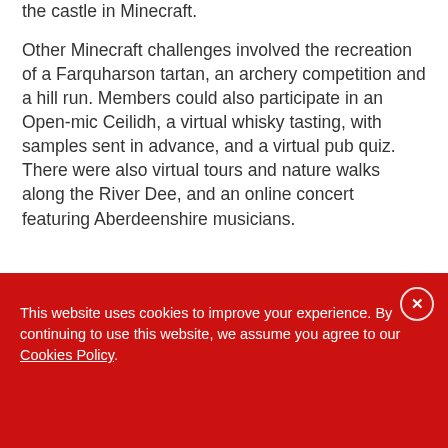the castle in Minecraft.
Other Minecraft challenges involved the recreation of a Farquharson tartan, an archery competition and a hill run. Members could also participate in an Open-mic Ceilidh, a virtual whisky tasting, with samples sent in advance, and a virtual pub quiz. There were also virtual tours and nature walks along the River Dee, and an online concert featuring Aberdeenshire musicians.
This website uses cookies to improve your experience. By continuing to use this website, we assume you agree to our Cookies Policy.